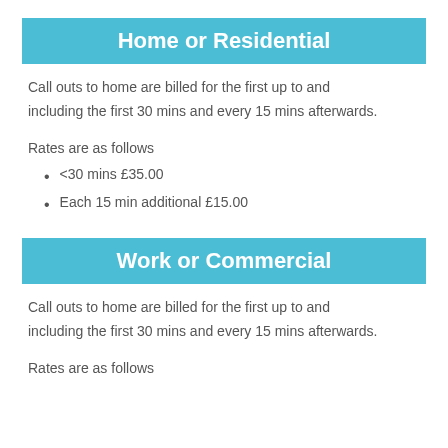Home or Residential
Call outs to home are billed for the first up to and including the first 30 mins and every 15 mins afterwards.
Rates are as follows
<30 mins £35.00
Each 15 min additional £15.00
Work or Commercial
Call outs to home are billed for the first up to and including the first 30 mins and every 15 mins afterwards.
Rates are as follows